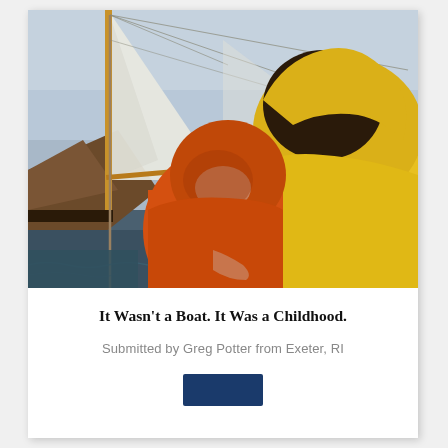[Figure (photo): Two people on a sailboat in rough weather wearing rain gear — one in orange rain jacket and hood in the foreground/middle, another in yellow rain jacket and hood at right. White sails and rigging visible above. Overcast sky. Wooden boat structure visible.]
It Wasn't a Boat. It Was a Childhood.
Submitted by Greg Potter from Exeter, RI